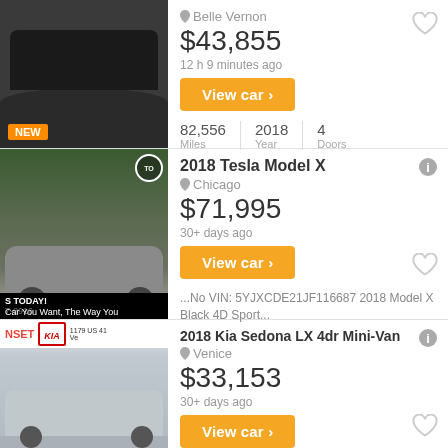Belle Vernon
$43,855
12 h 9 minutes ago
View car
82,556 Miles | 2018 Year | 4 Doors
[Figure (photo): Black SUV (Ford Expedition) photo with NEW badge]
2018 Tesla Model X
Chicago
$71,995
30+ days ago
View car
...No VIN: 5YJXCDE21JF116687 2018 Model X Black 4D Sport...
[Figure (photo): Gray Tesla Model X with dealership advertisement overlay]
2018 Kia Sedona LX 4dr Mini-Van
Venice
$33,153
30+ days ago
View car
[Figure (photo): Silver Kia Sedona van at Sunset Kia dealership]